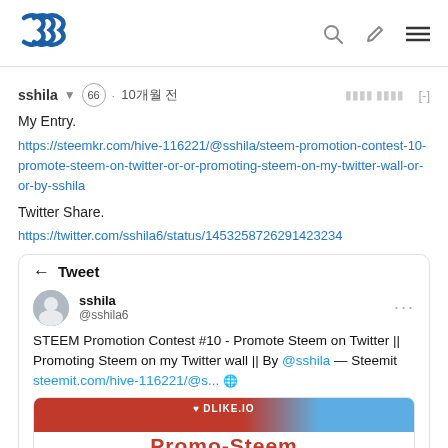Steem logo and navigation icons
sshila 66 · 10개월 전
My Entry.
https://steemkr.com/hive-116221/@sshila/steem-promotion-contest-10-promote-steem-on-twitter-or-or-promoting-steem-on-my-twitter-wall-or-or-by-sshila
Twitter Share.
https://twitter.com/sshila6/status/1453258726291423234
[Figure (screenshot): Embedded Tweet card showing a tweet by sshila (@sshila6) about STEEM Promotion Contest #10 - Promote Steem on Twitter || Promoting Steem on my Twitter wall || By @sshila — Steemit steemit.com/hive-116221/@s... with a preview image showing a red promotional banner with DLIKE.IO logo and text 'Promo-Steem']